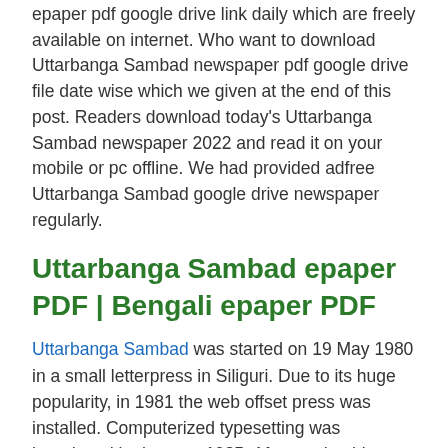epaper pdf google drive link daily which are freely available on internet. Who want to download Uttarbanga Sambad newspaper pdf google drive file date wise which we given at the end of this post. Readers download today's Uttarbanga Sambad newspaper 2022 and read it on your mobile or pc offline. We had provided adfree Uttarbanga Sambad google drive newspaper regularly.
Uttarbanga Sambad epaper PDF | Bengali epaper PDF
Uttarbanga Sambad was started on 19 May 1980 in a small letterpress in Siliguri. Due to its huge popularity, in 1981 the web offset press was installed. Computerized typesetting was introduced in the year 1985. Afterward, a hi-speed 4-color web